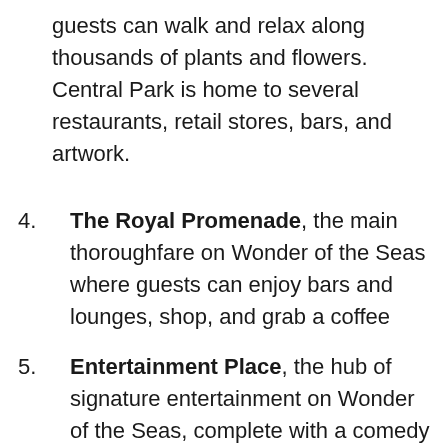guests can walk and relax along thousands of plants and flowers. Central Park is home to several restaurants, retail stores, bars, and artwork.
4. The Royal Promenade, the main thoroughfare on Wonder of the Seas where guests can enjoy bars and lounges, shop, and grab a coffee
5. Entertainment Place, the hub of signature entertainment on Wonder of the Seas, complete with a comedy club, ice skating rink, theater, and